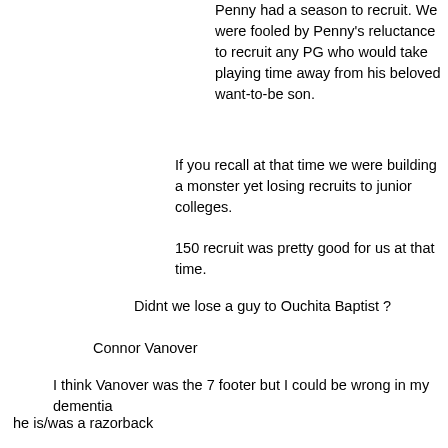Penny had a season to recruit. We were fooled by Penny's reluctance to recruit any PG who would take playing time away from his beloved want-to-be son.
If you recall at that time we were building a monster yet losing recruits to junior colleges.
150 recruit was pretty good for us at that time.
Didnt we lose a guy to Ouchita Baptist ?
Connor Vanover
I think Vanover was the 7 footer but I could be wrong in my dementia
he is/was a razorback